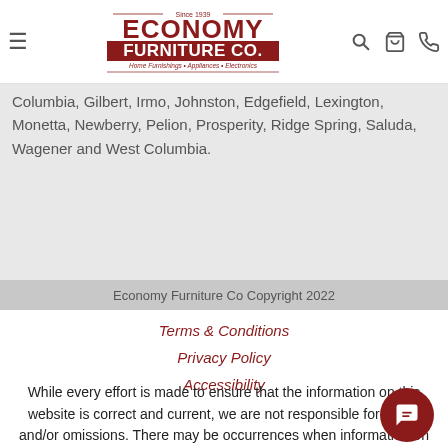Economy Furniture Co — Since 1939 — Home Furnishings • Appliances • Electronics
Columbia, Gilbert, Irmo, Johnston, Edgefield, Lexington, Monetta, Newberry, Pelion, Prosperity, Ridge Spring, Saluda, Wagener and West Columbia.
Economy Furniture Co Copyright 2022
Terms & Conditions
Privacy Policy
Accessibility
While every effort is made to ensure that the information on this website is correct and current, we are not responsible for errors and/or omissions. There may be occurrences when information on our website or in our catalog may contain typographical errors, inaccuracies or omissions that may pertain to product pricing and availability. We reserve the right to correct and/or update